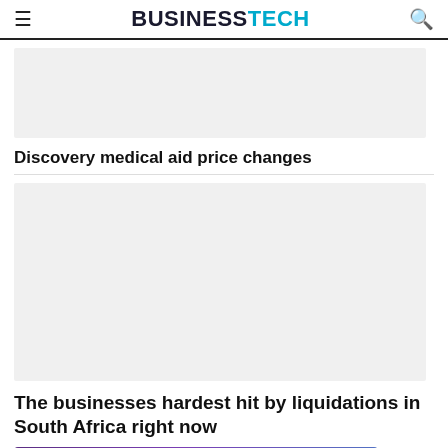BUSINESSTECH
[Figure (other): Gray advertisement placeholder banner (top)]
Discovery medical aid price changes
[Figure (other): Gray advertisement placeholder banner (middle, larger)]
The businesses hardest hit by liquidations in South Africa right now
[Figure (other): Blintrs advertisement banner - Power your sales with Technographics, Firmographics, Psychographics - Learn more button]